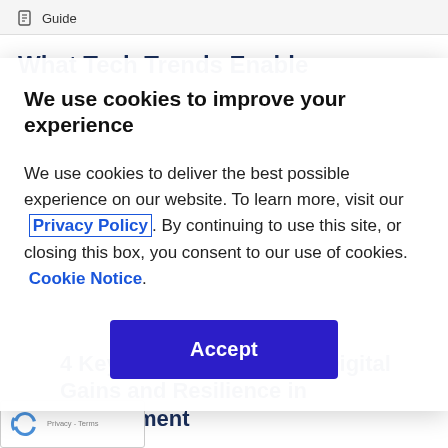Guide
What Tech Trends Enable
We use cookies to improve your experience
We use cookies to deliver the best possible experience on our website. To learn more, visit our Privacy Policy. By continuing to use this site, or closing this box, you consent to our use of cookies.  Cookie Notice.
Accept
4 Key Actions to Amplify Digital Gains and Resilience in Government